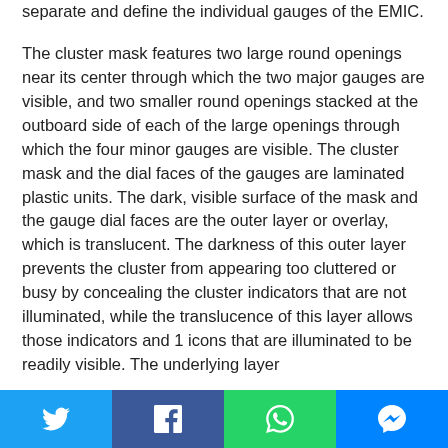separate and define the individual gauges of the EMIC.
The cluster mask features two large round openings near its center through which the two major gauges are visible, and two smaller round openings stacked at the outboard side of each of the large openings through which the four minor gauges are visible. The cluster mask and the dial faces of the gauges are laminated plastic units. The dark, visible surface of the mask and the gauge dial faces are the outer layer or overlay, which is translucent. The darkness of this outer layer prevents the cluster from appearing too cluttered or busy by concealing the cluster indicators that are not illuminated, while the translucence of this layer allows those indicators and 1 icons that are illuminated to be readily visible. The underlying layer